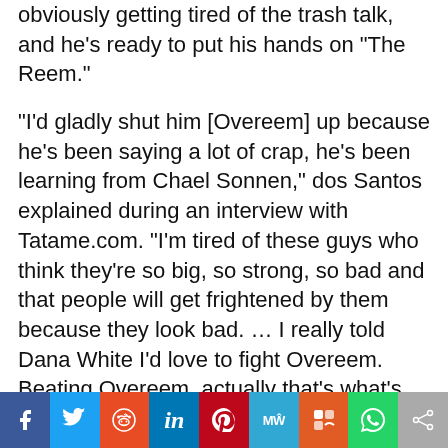obviously getting tired of the trash talk, and he's ready to put his hands on “The Reem.”
“I’d gladly shut him [Overeem] up because he’s been saying a lot of crap, he’s been learning from Chael Sonnen,” dos Santos explained during an interview with Tatame.com. “I’m tired of these guys who think they’re so big, so strong, so bad and that people will get frightened by them because they look bad. … I really told Dana White I’d love to fight Overeem. Beating Overeem, actually that’s what’s going to happen when this bout actually happens. It would be a pleasure. … Overeem deserves a beating and I’m going to arrange that.”
[Figure (infographic): Social media share buttons bar: Facebook, Twitter, Reddit, LinkedIn, Pinterest, MeWe, Mix, WhatsApp, Share]